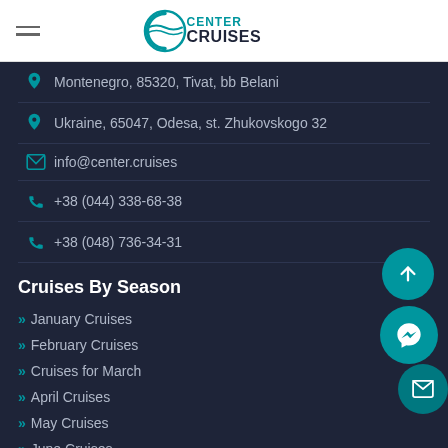CENTER CRUISES
Montenegro, 85320, Tivat, bb Belani
Ukraine, 65047, Odesa, st. Zhukovskogo 32
info@center.cruises
+38 (044) 338-68-38
+38 (048) 736-34-31
Cruises By Season
January Cruises
February Cruises
Cruises for March
April Cruises
May Cruises
June Cruises
July Cruises